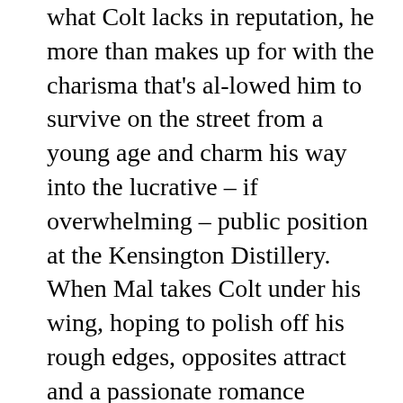what Colt lacks in reputation, he more than makes up for with the charisma that's al-lowed him to survive on the street from a young age and charm his way into the lucrative – if overwhelming – public position at the Kensington Distillery. When Mal takes Colt under his wing, hoping to polish off his rough edges, opposites attract and a passionate romance blossoms de-spite the differences in age and background. But can it survive a Kensington Board of Directors who believe Colt is nothing but a gold digger and a kidnapper determined to profit from the love of Mal's life – dead or alive?
Purchase Link: Audible US | Audible UK |